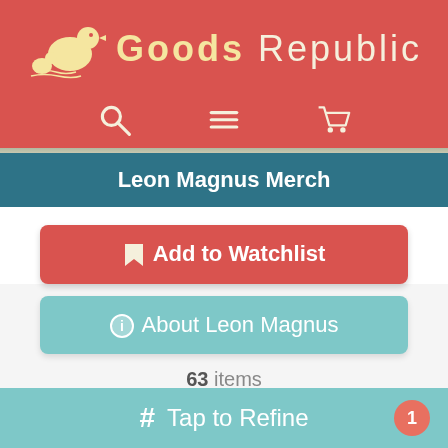[Figure (logo): Goods Republic logo with duck icon, red background, beige/yellow text]
[Figure (screenshot): Navigation icons: search, menu, cart on red background]
Leon Magnus Merch
Add to Watchlist
About Leon Magnus
63 items
[Figure (photo): Product card showing map pin icons, price $31.43]
[Figure (photo): Product card showing ceramic bowl, price $24.00]
# Tap to Refine  1